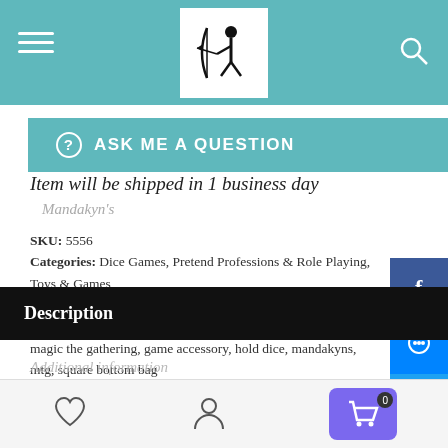Mandakyn's shop header with logo and navigation
ASK ME A QUESTION
Item will be shipped in 1 business day
Mandakyn's
SKU: 5556
Categories: Dice Games, Pretend Professions & Role Playing, Toys & Games
Tags: bag, cinch, cinching bag, convenient storage, custom order, dice accessories, dice bag, for dungeons & dragons, for magic the gathering, game accessory, hold dice, mandakyns, mtg, square bottom bag
Description
Additional information
Bottom navigation bar with wishlist, account, and cart icons